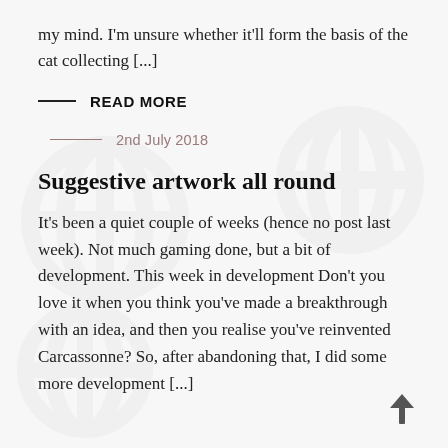my mind. I'm unsure whether it'll form the basis of the cat collecting [...]
READ MORE
2nd July 2018
Suggestive artwork all round
It's been a quiet couple of weeks (hence no post last week). Not much gaming done, but a bit of development. This week in development Don't you love it when you think you've made a breakthrough with an idea, and then you realise you've reinvented Carcassonne? So, after abandoning that, I did some more development [...]